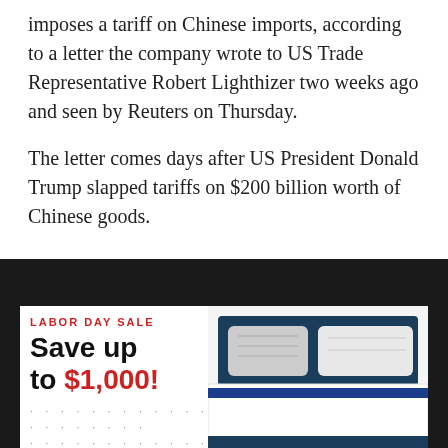imposes a tariff on Chinese imports, according to a letter the company wrote to US Trade Representative Robert Lighthizer two weeks ago and seen by Reuters on Thursday.
The letter comes days after US President Donald Trump slapped tariffs on $200 billion worth of Chinese goods.
[Figure (other): Advertisement banner: LABOR DAY SALE - Save up to $1,000! with an image of a bed with white bedding and blue accent, and an orange chat button in the lower right corner.]